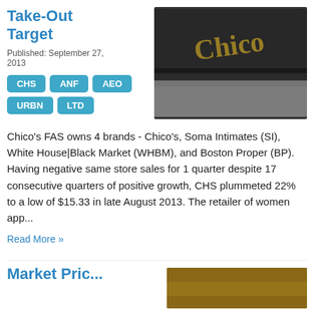Take-Out Target
Published: September 27, 2013
[Figure (photo): Close-up photo of dark textured leather material with gold lettering, possibly a shoe or accessory]
CHS ANF AEO URBN LTD
Chico's FAS owns 4 brands - Chico's, Soma Intimates (SI), White House|Black Market (WHBM), and Boston Proper (BP). Having negative same store sales for 1 quarter despite 17 consecutive quarters of positive growth, CHS plummeted 22% to a low of $15.33 in late August 2013. The retailer of women app...
Read More »
Market Pric...